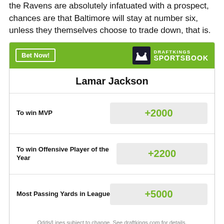the Ravens are absolutely infatuated with a prospect, chances are that Baltimore will stay at number six, unless they themselves choose to trade down, that is.
| Bet | Odds |
| --- | --- |
| To win MVP | +2000 |
| To win Offensive Player of the Year | +2200 |
| Most Passing Yards in League | +5000 |
Odds/Lines subject to change. See draftkings.com for details.